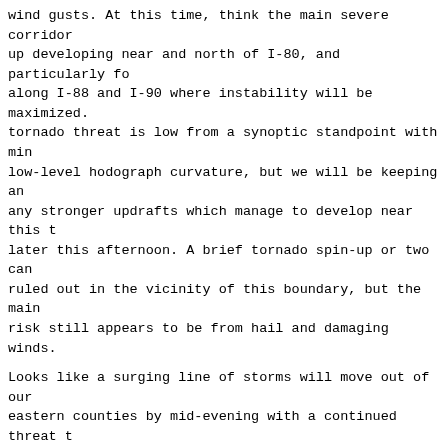wind gusts. At this time, think the main severe corridor
up developing near and north of I-80, and particularly fo
along I-88 and I-90 where instability will be maximized.
tornado threat is low from a synoptic standpoint with min
low-level hodograph curvature, but we will be keeping an
any stronger updrafts which manage to develop near this t
later this afternoon. A brief tornado spin-up or two can
ruled out in the vicinity of this boundary, but the main
risk still appears to be from hail and damaging winds.
Looks like a surging line of storms will move out of our
eastern counties by mid-evening with a continued threat t
to locally damaging wind gusts. Will be holding onto some
behind this line of storms with lingering moisture and so
instability to work with, but the main severe window will
a close by about 9-10 pm area-wide.
Carlaw
&&
.LONG TERM...
155 PM CDT
Sunday through Saturday...
Amazingly, it does indeed look like we will enter a brief
quieter weather pattern on Sunday and into early next week
Unfortunately, it does appear as if we`ll have to contend
some lingering low precipitation potential on Sunday as t